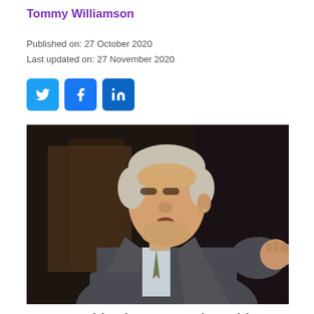Tommy Williamson
Published on: 27 October 2020
Last updated on: 27 November 2020
[Figure (other): Social sharing buttons: Twitter, Facebook, LinkedIn]
[Figure (photo): Photo of Joe Biden pointing forward, wearing a suit and striped tie, dark background]
Has Joe Biden been a good president?
Yes  No  Not sure